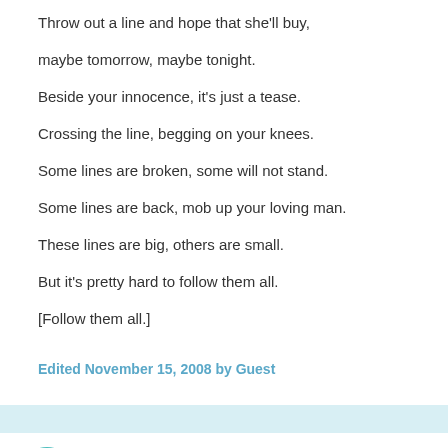Throw out a line and hope that she'll buy,
maybe tomorrow, maybe tonight.
Beside your innocence, it's just a tease.
Crossing the line, begging on your knees.
Some lines are broken, some will not stand.
Some lines are back, mob up your loving man.
These lines are big, others are small.
But it's pretty hard to follow them all.
[Follow them all.]
Edited November 15, 2008 by Guest
TheLizard
Posted November 17, 2008